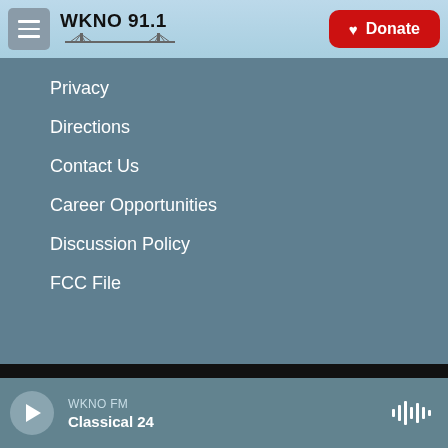WKNO 91.1 | Donate
Privacy
Directions
Contact Us
Career Opportunities
Discussion Policy
FCC File
WKNO FM — Classical 24